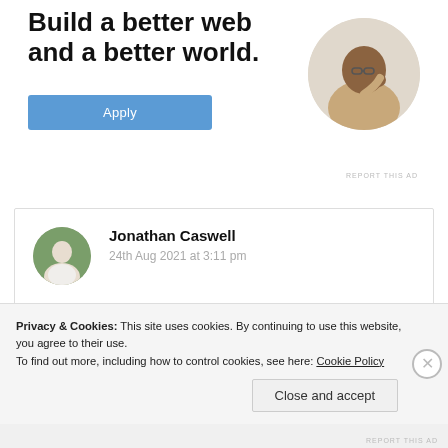Build a better web and a better world.
[Figure (illustration): A circular profile photo of a man sitting at a desk, looking upward thoughtfully with his hand near his face. He wears a tan shirt.]
REPORT THIS AD
[Figure (photo): A circular profile avatar photo of Jonathan Caswell, showing a man outdoors with trees in the background.]
Jonathan Caswell
24th Aug 2021 at 3:11 pm
Privacy & Cookies: This site uses cookies. By continuing to use this website, you agree to their use.
To find out more, including how to control cookies, see here: Cookie Policy
Close and accept